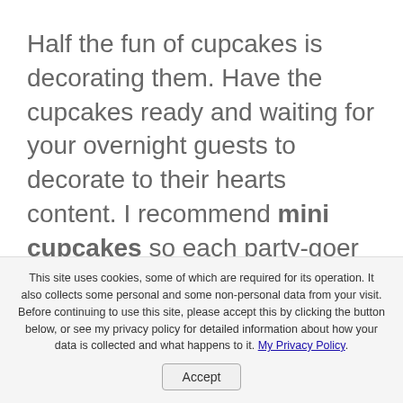Half the fun of cupcakes is decorating them.  Have the cupcakes ready and waiting for your overnight guests to decorate to their hearts content.  I recommend mini cupcakes so each party-goer can decorate and eat more than one.  Lay out a supply of different frosting colors, writing gels, candies, sprinkles, and
This site uses cookies, some of which are required for its operation. It also collects some personal and some non-personal data from your visit. Before continuing to use this site, please accept this by clicking the button below, or see my privacy policy for detailed information about how your data is collected and what happens to it. My Privacy Policy.
Accept